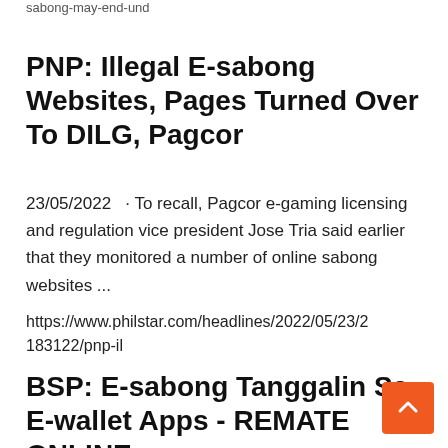sabong-may-end-und
PNP: Illegal E-sabong Websites, Pages Turned Over To DILG, Pagcor
23/05/2022  · To recall, Pagcor e-gaming licensing and regulation vice president Jose Tria said earlier that they monitored a number of online sabong websites ...
https://www.philstar.com/headlines/2022/05/23/2183122/pnp-il
BSP: E-sabong Tanggalin Sa E-wallet Apps - REMATE ONLINE